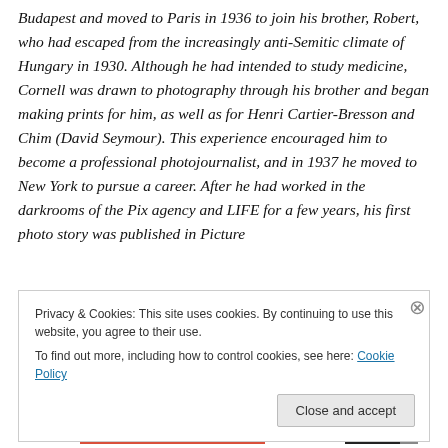Budapest and moved to Paris in 1936 to join his brother, Robert, who had escaped from the increasingly anti-Semitic climate of Hungary in 1930. Although he had intended to study medicine, Cornell was drawn to photography through his brother and began making prints for him, as well as for Henri Cartier-Bresson and Chim (David Seymour). This experience encouraged him to become a professional photojournalist, and in 1937 he moved to New York to pursue a career. After he had worked in the darkrooms of the Pix agency and LIFE for a few years, his first photo story was published in Picture
Privacy & Cookies: This site uses cookies. By continuing to use this website, you agree to their use.
To find out more, including how to control cookies, see here: Cookie Policy